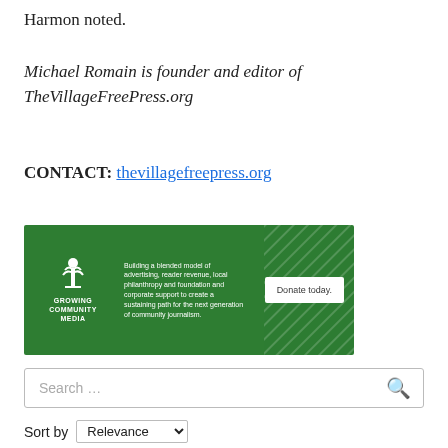Harmon noted.
Michael Romain is founder and editor of TheVillageFreePress.org
CONTACT: thevillagefreepress.org
[Figure (other): Growing Community Media advertisement banner with green background. Text: 'Building a blended model of advertising, reader revenue, local philanthropy and foundation and corporate support to create a sustaining path for the next generation of community journalism.' 'Donate today.' button on right.]
Search …
Sort by Relevance